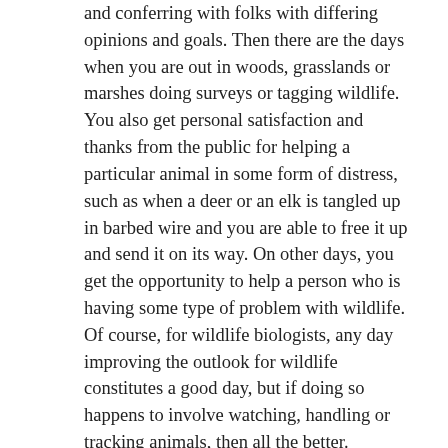and conferring with folks with differing opinions and goals. Then there are the days when you are out in woods, grasslands or marshes doing surveys or tagging wildlife. You also get personal satisfaction and thanks from the public for helping a particular animal in some form of distress, such as when a deer or an elk is tangled up in barbed wire and you are able to free it up and send it on its way. On other days, you get the opportunity to help a person who is having some type of problem with wildlife. Of course, for wildlife biologists, any day improving the outlook for wildlife constitutes a good day, but if doing so happens to involve watching, handling or tracking animals, then all the better.
What is your favorite species to interact with or study?
The groups of species that I interact with most frequently are game birds and mammals, typically